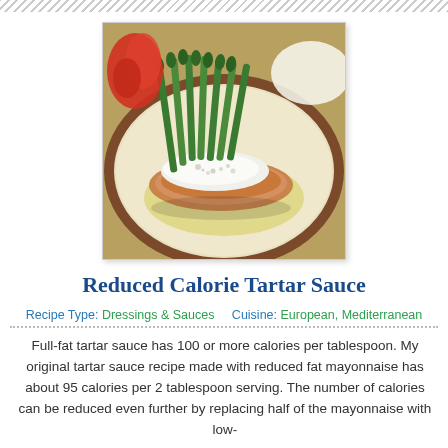[Figure (photo): A plated fish fillet topped with creamy tartar sauce, served on a bed of rice, with asparagus spears and red pepper in the background, on a beige plate with brown rim.]
Reduced Calorie Tartar Sauce
Recipe Type: Dressings & Sauces    Cuisine: European, Mediterranean
Full-fat tartar sauce has 100 or more calories per tablespoon. My original tartar sauce recipe made with reduced fat mayonnaise has about 95 calories per 2 tablespoon serving. The number of calories can be reduced even further by replacing half of the mayonnaise with low-